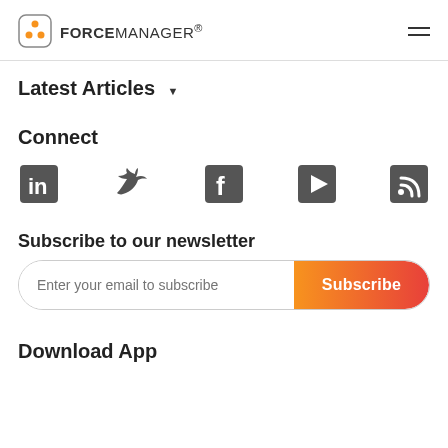FORCEMANAGER
Latest Articles
Connect
[Figure (infographic): Social media icons: LinkedIn, Twitter, Facebook, YouTube/Play, RSS feed]
Subscribe to our newsletter
Enter your email to subscribe | Subscribe
Download App